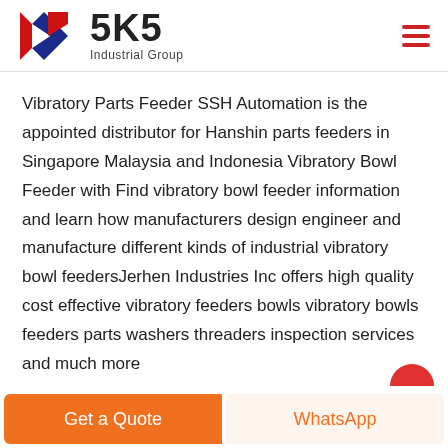[Figure (logo): SKS Industrial Group logo with a stylized red and blue K letter mark and bold '5K5' text with 'Industrial Group' subtitle]
Vibratory Parts Feeder SSH Automation is the appointed distributor for Hanshin parts feeders in Singapore Malaysia and Indonesia Vibratory Bowl Feeder with Find vibratory bowl feeder information and learn how manufacturers design engineer and manufacture different kinds of industrial vibratory bowl feedersJerhen Industries Inc offers high quality cost effective vibratory feeders bowls vibratory bowls feeders parts washers threaders inspection services and much more
Get a Quote
WhatsApp